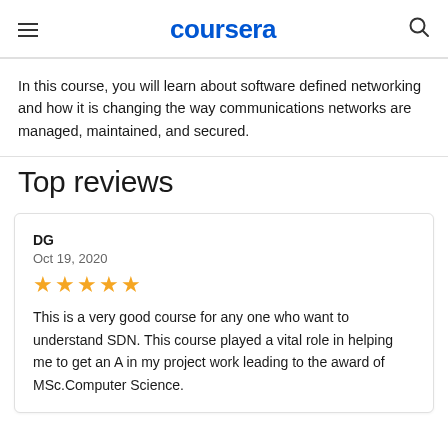coursera
In this course, you will learn about software defined networking and how it is changing the way communications networks are managed, maintained, and secured.
Top reviews
DG
Oct 19, 2020
★★★★★
This is a very good course for any one who want to understand SDN. This course played a vital role in helping me to get an A in my project work leading to the award of MSc.Computer Science.